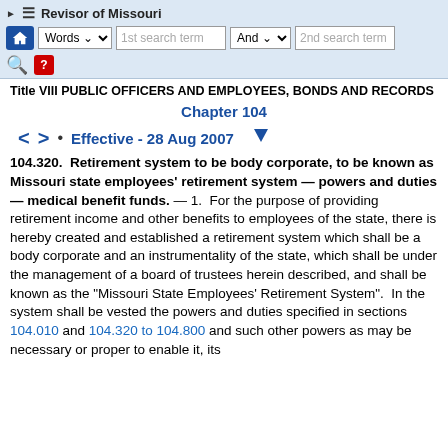Revisor of Missouri — navigation and search bar
Title VIII PUBLIC OFFICERS AND EMPLOYEES, BONDS AND RECORDS
Chapter 104
Effective - 28 Aug 2007
104.320. Retirement system to be body corporate, to be known as Missouri state employees' retirement system — powers and duties — medical benefit funds.
— 1. For the purpose of providing retirement income and other benefits to employees of the state, there is hereby created and established a retirement system which shall be a body corporate and an instrumentality of the state, which shall be under the management of a board of trustees herein described, and shall be known as the "Missouri State Employees' Retirement System". In the system shall be vested the powers and duties specified in sections 104.010 and 104.320 to 104.800 and such other powers as may be necessary or proper to enable it, its